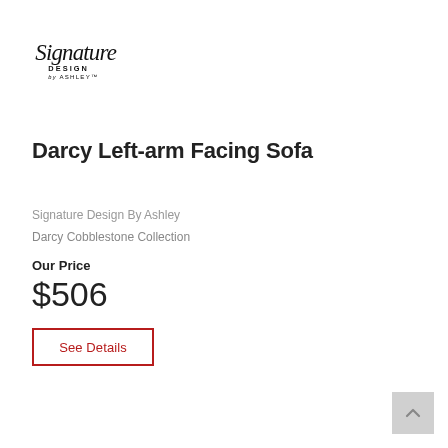[Figure (logo): Signature Design by Ashley cursive/script logo]
Darcy Left-arm Facing Sofa
Signature Design By Ashley
Darcy Cobblestone Collection
Our Price
$506
See Details